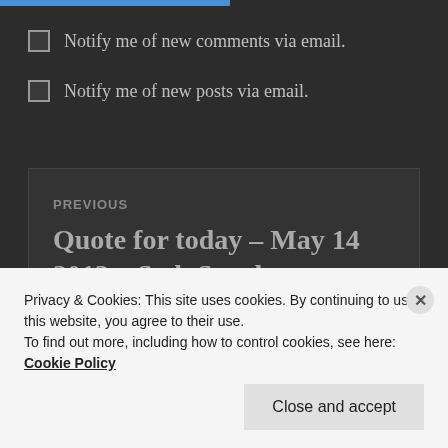[Figure (screenshot): Blue top progress/button bar at top of page]
Notify me of new comments via email.
Notify me of new posts via email.
PREVIOUS
Quote for today – May 14 2013 – Seth Speaks
Privacy & Cookies: This site uses cookies. By continuing to use this website, you agree to their use.
To find out more, including how to control cookies, see here:
Cookie Policy
Close and accept